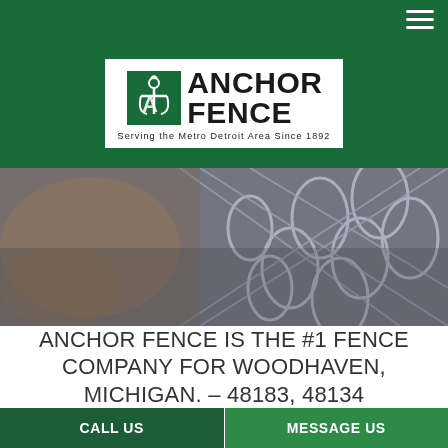[Figure (logo): Anchor Fence logo with anchor/A graphic, green border box, text ANCHOR FENCE and tagline Serving the Metro Detroit Area Since 1892]
[Figure (photo): Close-up photograph of a chain-link metal fence with blurred background]
ANCHOR FENCE IS THE #1 FENCE COMPANY FOR WOODHAVEN, MICHIGAN. – 48183, 48134
CALL US
MESSAGE US